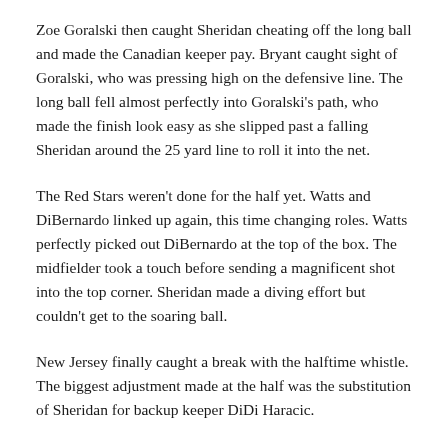Zoe Goralski then caught Sheridan cheating off the long ball and made the Canadian keeper pay. Bryant caught sight of Goralski, who was pressing high on the defensive line. The long ball fell almost perfectly into Goralski's path, who made the finish look easy as she slipped past a falling Sheridan around the 25 yard line to roll it into the net.
The Red Stars weren't done for the half yet. Watts and DiBernardo linked up again, this time changing roles. Watts perfectly picked out DiBernardo at the top of the box. The midfielder took a touch before sending a magnificent shot into the top corner. Sheridan made a diving effort but couldn't get to the soaring ball.
New Jersey finally caught a break with the halftime whistle. The biggest adjustment made at the half was the substitution of Sheridan for backup keeper DiDi Haracic.